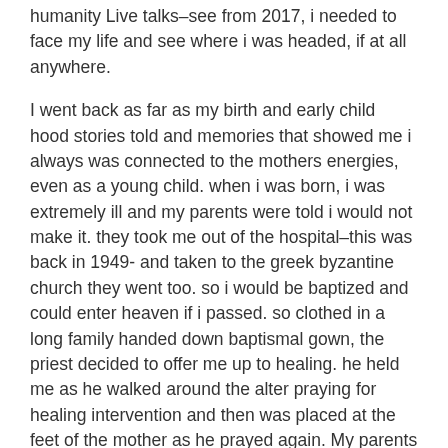humanity Live talks–see from 2017, i needed to face my life and see where i was headed, if at all anywhere.
I went back as far as my birth and early child hood stories told and memories that showed me i always was connected to the mothers energies, even as a young child. when i was born, i was extremely ill and my parents were told i would not make it. they took me out of the hospital–this was back in 1949- and taken to the greek byzantine church they went too. so i would be baptized and could enter heaven if i passed. so clothed in a long family handed down baptismal gown, the priest decided to offer me up to healing. he held me as he walked around the alter praying for healing intervention and then was placed at the feet of the mother as he prayed again. My parents took me back to the hospital, and truly miraculous, the drs found my health issue and i thrived. I was brought back home and grew into a child who could see multidimensionally and was drawn to broken animals and plants and insects, as i felt i could heal them. My parents did